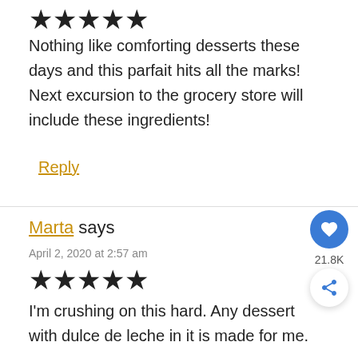[Figure (other): Five filled black stars rating]
Nothing like comforting desserts these days and this parfait hits all the marks! Next excursion to the grocery store will include these ingredients!
Reply
Marta says
April 2, 2020 at 2:57 am
[Figure (other): Five filled black stars rating]
I'm crushing on this hard. Any dessert with dulce de leche in it is made for me.